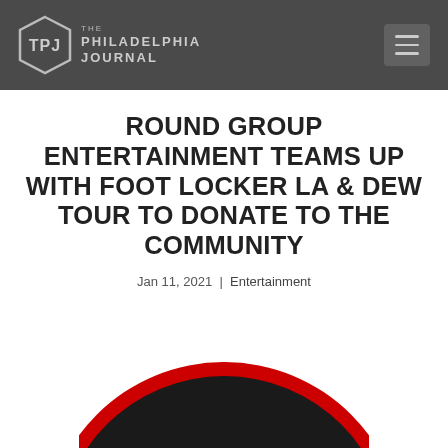THE PHILADELPHIA JOURNAL
ROUND GROUP ENTERTAINMENT TEAMS UP WITH FOOT LOCKER LA & DEW TOUR TO DONATE TO THE COMMUNITY
Jan 11, 2021 | Entertainment
[Figure (logo): Round Group Entertainment circular logo with dark background and red border, showing partial text 'UND GRO' in distressed white lettering]